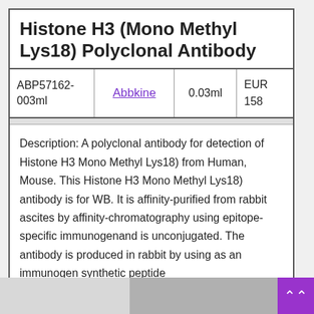Histone H3 (Mono Methyl Lys18) Polyclonal Antibody
|  |  |  |  |
| --- | --- | --- | --- |
| ABP57162-003ml | Abbkine | 0.03ml | EUR 158 |
Description: A polyclonal antibody for detection of Histone H3 Mono Methyl Lys18) from Human, Mouse. This Histone H3 Mono Methyl Lys18) antibody is for WB. It is affinity-purified from rabbit ascites by affinity-chromatography using epitope-specific immunogenand is unconjugated. The antibody is produced in rabbit by using as an immunogen synthetic peptide